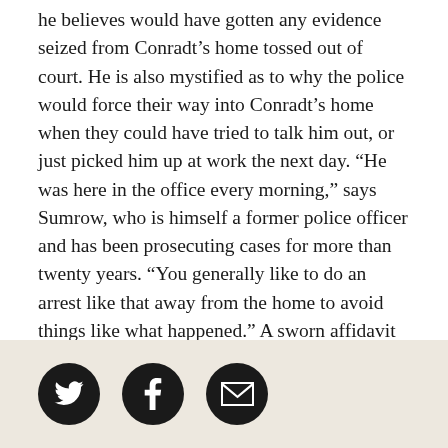he believes would have gotten any evidence seized from Conradt's home tossed out of court. He is also mystified as to why the police would force their way into Conradt's home when they could have tried to talk him out, or just picked him up at work the next day. “He was here in the office every morning,” says Sumrow, who is himself a former police officer and has been prosecuting cases for more than twenty years. “You generally like to do an arrest like that away from the home to avoid things like what happened.” A sworn affidavit supporting the warrant also shows that the information about Conradt’s online activities was given to the Murphy police by Perverted Justice just hours before they went to arrest him.
[Figure (infographic): Three circular social share buttons: Twitter (bird icon), Facebook (f icon), and Email (envelope icon), displayed on a beige/tan background bar at the bottom of the page.]